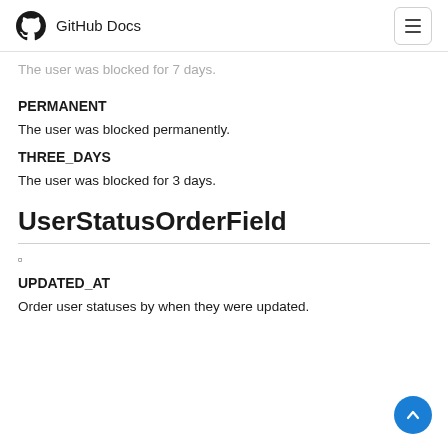GitHub Docs
The user was blocked for 7 days.
PERMANENT
The user was blocked permanently.
THREE_DAYS
The user was blocked for 3 days.
UserStatusOrderField
▫
UPDATED_AT
Order user statuses by when they were updated.